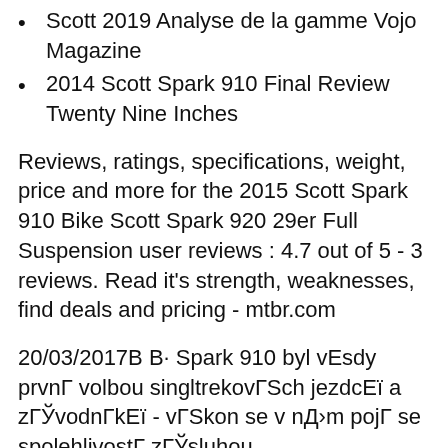Scott 2019 Analyse de la gamme Vojo Magazine
2014 Scott Spark 910 Final Review Twenty Nine Inches
Reviews, ratings, specifications, weight, price and more for the 2015 Scott Spark 910 Bike Scott Spark 920 29er Full Suspension user reviews : 4.7 out of 5 - 3 reviews. Read it's strength, weaknesses, find deals and pricing - mtbr.com
20/03/2017В В· Spark 910 byl vЕsdy prvnГ volbou singltrekovГSch jezdcЕї a zГЎvodnГkЕї - vГSkon se v nД›m pojГ se spolehlivostГ zГЎsluhou